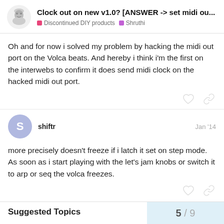Clock out on new v1.0? [ANSWER -> set midi ou... | Discontinued DIY products | Shruthi
Oh and for now i solved my problem by hacking the midi out port on the Volca beats. And hereby i think i'm the first on the interwebs to confirm it does send midi clock on the hacked midi out port.
shiftr  Jan '14
more precisely doesn't freeze if i latch it set on step mode. As soon as i start playing with the let's jam knobs or switch it to arp or seq the volca freezes.
5 / 9
Suggested Topics